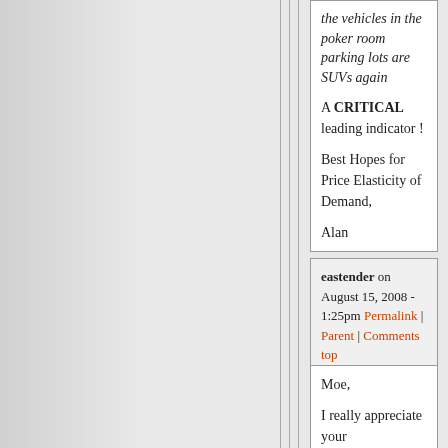the vehicles in the poker room parking lots are SUVs again
A CRITICAL leading indicator !
Best Hopes for Price Elasticity of Demand,

Alan
eastender on August 15, 2008 - 1:25pm Permalink | Parent | Comments top
Moe,

I really appreciate your